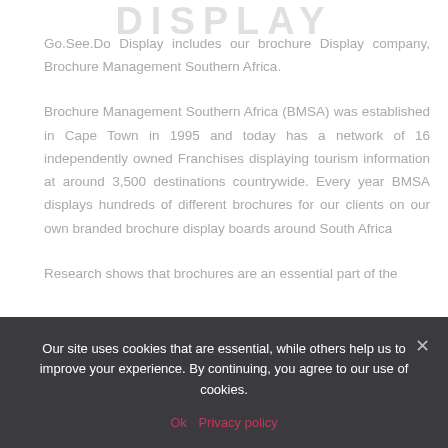DISPLAY
Go.See.Do Display includes our brochure Display company, Brochure Management Southern Africa.
Brochure Management Southern Africa (BMSA) was established in Cape Town in 1995 and today has a network of 16 independently owned Franchises displaying tourism information at around 3,500 destinations countrywide. Every year BMSA displays hundreds of different brochures for our clients on our own branded brochure display boards around South Africa
Research shows that brochures are an essential part of the
Our site uses cookies that are essential, while others help us to improve your experience. By continuing, you agree to our use of cookies.
Ok   Privacy policy